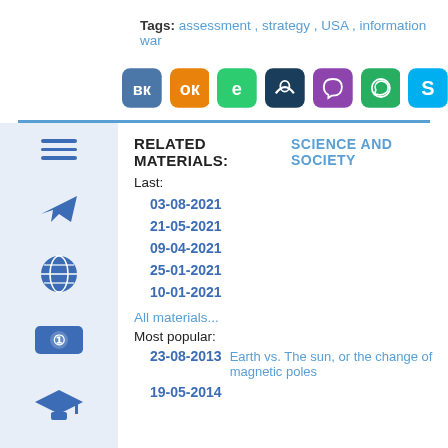Tags: assessment , strategy , USA , information war
[Figure (infographic): Social sharing icons: VK (blue), OK (orange), Evernote (green), unknown (dark teal), Viber (purple), WhatsApp (green), Skype (blue)]
RELATED MATERIALS:   SCIENCE AND SOCIETY
Last:
03-08-2021
21-05-2021
09-04-2021
25-01-2021
10-01-2021
All materials...
Most popular:
23-08-2013  Earth vs. The sun, or the change of magnetic poles
19-05-2014